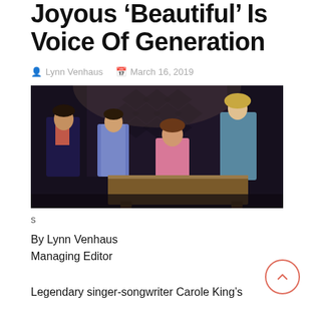Joyous 'Beautiful' Is Voice Of Generation
Lynn Venhaus   March 16, 2019
[Figure (photo): Four actors on stage around a piano/desk in a dark theater setting. A man in a dark jacket on the left, a man in a blue shirt center-left, a woman in pink center, and a blonde woman in teal on the right.]
s
By Lynn Venhaus
Managing Editor
Legendary singer-songwriter Carole King's